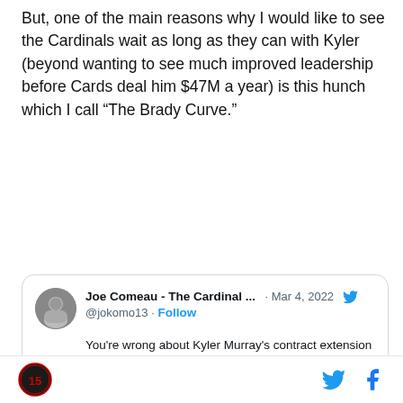But, one of the main reasons why I would like to see the Cardinals wait as long as they can with Kyler (beyond wanting to see much improved leadership before Cards deal him $47M a year) is this hunch which I call “The Brady Curve.”
[Figure (screenshot): Embedded tweet from @jokomo13 (Joe Comeau - The Cardinal ...) dated Mar 4, 2022, with text: "You're wrong about Kyler Murray's contract extension (maybe)." and a mention of @AZCardinals, with a YouTube link preview showing 'Kyler Murray Contract Extension Projection']
Footer with site logo and social media icons (Twitter, Facebook)